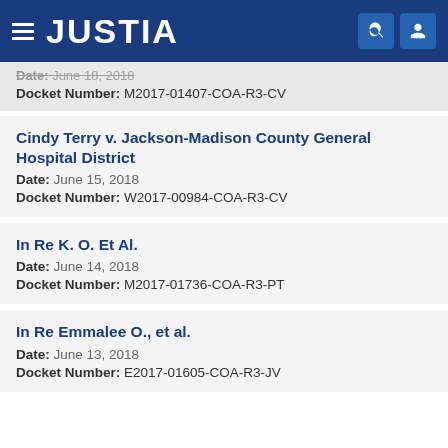JUSTIA
Date: June 18, 2018
Docket Number: M2017-01407-COA-R3-CV
Cindy Terry v. Jackson-Madison County General Hospital District
Date: June 15, 2018
Docket Number: W2017-00984-COA-R3-CV
In Re K. O. Et Al.
Date: June 14, 2018
Docket Number: M2017-01736-COA-R3-PT
In Re Emmalee O., et al.
Date: June 13, 2018
Docket Number: E2017-01605-COA-R3-JV